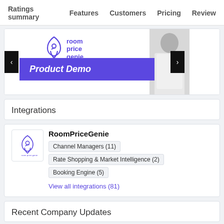Ratings summary   Features   Customers   Pricing   Review
[Figure (screenshot): Room Price Genie product demo card with logo, person photo, purple Product Demo banner, and left/right navigation arrows]
Integrations
RoomPriceGenie
Channel Managers (11)
Rate Shopping & Market Intelligence (2)
Booking Engine (5)
View all integrations (81)
Recent Company Updates